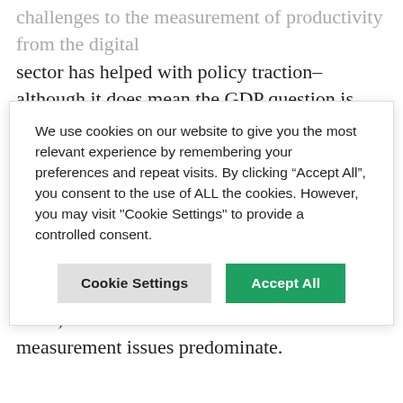challenges to the measurement of productivity from the digital sector has helped with policy traction–although it does mean the GDP question is seen largely through the prism of whether mis-measurement "explains"
We use cookies on our website to give you the most relevant experience by remembering your preferences and repeat visits. By clicking "Accept All", you consent to the use of ALL the cookies. However, you may visit "Cookie Settings" to provide a controlled consent.
trends to under-investment related to the crisis, and it isn't sensible to consider that measurement issues predominate.